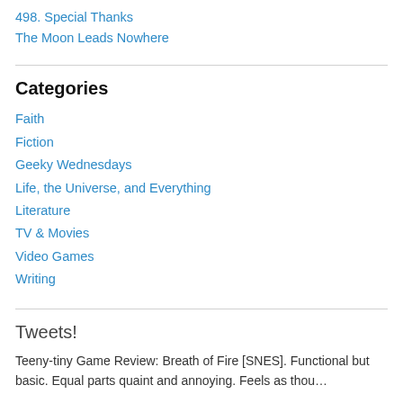498. Special Thanks
The Moon Leads Nowhere
Categories
Faith
Fiction
Geeky Wednesdays
Life, the Universe, and Everything
Literature
TV & Movies
Video Games
Writing
Tweets!
Teeny-tiny Game Review: Breath of Fire [SNES]. Functional but basic. Equal parts quaint and annoying. Feels as thou…